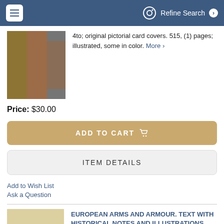Refine Search
4to; original pictorial card covers. 515, (1) pages; illustrated, some in color. More ›
Price: $30.00
ADD TO CART
ITEM DETAILS
Add to Wish List
Ask a Question
EUROPEAN ARMS AND ARMOUR. TEXT WITH HISTORICAL NOTES AND ILLUSTRATIONS. VOLUME I: ARMOUR [with] VOLUME II: ARMS.